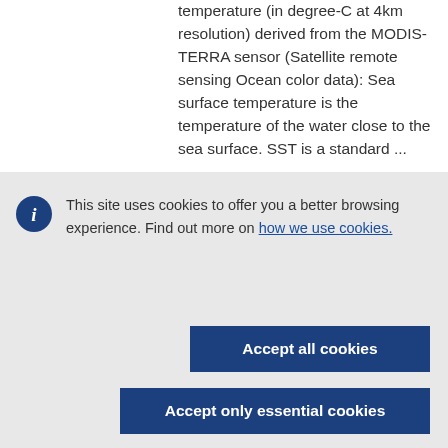temperature (in degree-C at 4km resolution) derived from the MODIS-TERRA sensor (Satellite remote sensing Ocean color data): Sea surface temperature is the temperature of the water close to the sea surface. SST is a standard ...
This site uses cookies to offer you a better browsing experience. Find out more on how we use cookies.
Accept all cookies
Accept only essential cookies